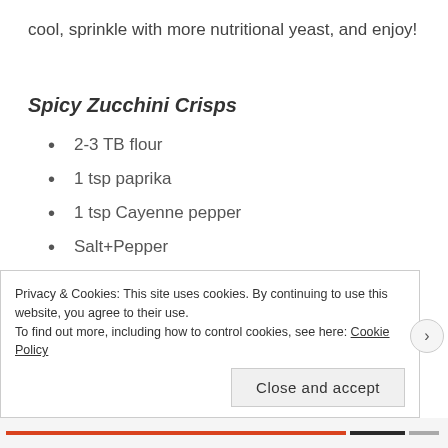cool, sprinkle with more nutritional yeast, and enjoy!
Spicy Zucchini Crisps
2-3 TB flour
1 tsp paprika
1 tsp Cayenne pepper
Salt+Pepper
2 medium zucchini, sliced 1/4 inches
Privacy & Cookies: This site uses cookies. By continuing to use this website, you agree to their use.
To find out more, including how to control cookies, see here: Cookie Policy
Close and accept